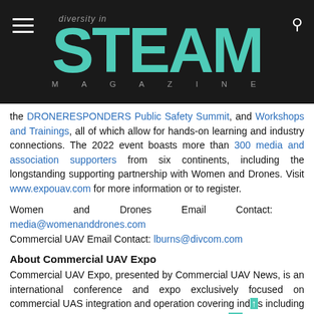[Figure (logo): Diversity in STEAM Magazine logo with teal STEAM lettering on dark background, hamburger menu icon on left, search icon on right]
the DRONERESPONDERS Public Safety Summit, and Workshops and Trainings, all of which allow for hands-on learning and industry connections. The 2022 event boasts more than 300 media and association supporters from six continents, including the longstanding supporting partnership with Women and Drones. Visit www.expouav.com for more information or to register.
Women and Drones Email Contact: media@womenanddrones.com
Commercial UAV Email Contact: lburns@divcom.com
About Commercial UAV Expo
Commercial UAV Expo, presented by Commercial UAV News, is an international conference and expo exclusively focused on commercial UAS integration and operation covering industries including Construction; Drone Delivery; Energy & Utilities; Forestry & Agriculture; Infrastructure & Transportation; Mining &